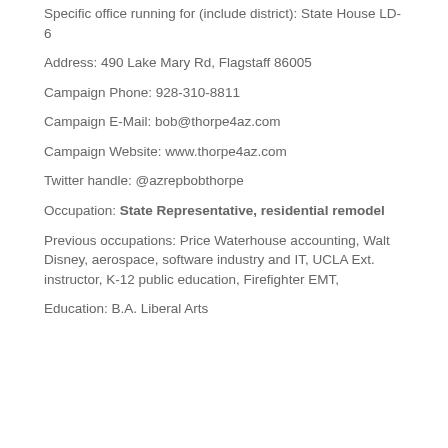Specific office running for (include district): State House LD-6
Address: 490 Lake Mary Rd, Flagstaff 86005
Campaign Phone: 928-310-8811
Campaign E-Mail: bob@thorpe4az.com
Campaign Website: www.thorpe4az.com
Twitter handle: @azrepbobthorpe
Occupation: State Representative, residential remodel
Previous occupations: Price Waterhouse accounting, Walt Disney, aerospace, software industry and IT, UCLA Ext. instructor, K-12 public education, Firefighter EMT,
Education: B.A. Liberal Arts